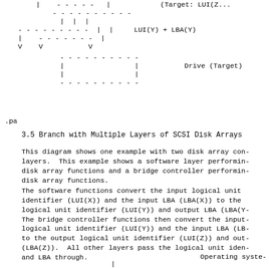[Figure (schematic): Partial ASCII diagram showing a box labeled with dashes and vertical bars, with arrows (V) pointing down, connected to another dashed box below. Labels include LUI(Y) + LBA(Y) and Drive (Target) to the right.]
.pa
3.5 Branch with Multiple Layers of SCSI Disk Arrays
This diagram shows one example with two disk array con- layers.  This example shows a software layer performing disk array functions and a bridge controller performing disk array functions.
The software functions convert the input logical unit identifier (LUI(X)) and the input LBA (LBA(X)) to the logical unit identifier (LUI(Y)) and output LBA (LBA(Y). The bridge controller functions then convert the input logical unit identifier (LUI(Y)) and the input LBA (LB- to the output logical unit identifier (LUI(Z)) and out- (LBA(Z)).  All other layers pass the logical unit iden- and LBA through.
Operating system
[Figure (schematic): Bottom partial ASCII diagram showing a vertical bar, beginning of next figure.]